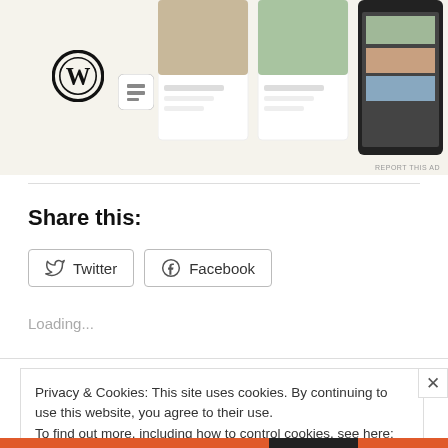[Figure (screenshot): WordPress ad banner showing WordPress logo and food menu cards on a beige background]
REPORT THIS AD
Share this:
Twitter
Facebook
Loading...
Privacy & Cookies: This site uses cookies. By continuing to use this website, you agree to their use.
To find out more, including how to control cookies, see here: Cookie Policy
Close and accept